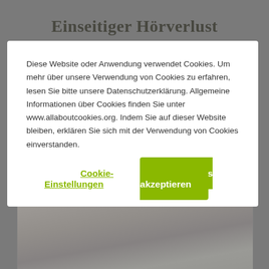Einseitiger Hörverlust
Diese Website oder Anwendung verwendet Cookies. Um mehr über unsere Verwendung von Cookies zu erfahren, lesen Sie bitte unsere Datenschutzerklärung. Allgemeine Informationen über Cookies finden Sie unter www.allaboutcookies.org. Indem Sie auf dieser Website bleiben, erklären Sie sich mit der Verwendung von Cookies einverstanden.
Cookie-Einstellungen
Alle Cookies akzeptieren
[Figure (photo): Child writing in notebook with books on desk, wearing green top]
[Figure (photo): Two young girls communicating, one whispering to the other using a cup]